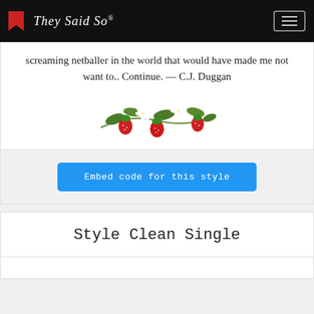They Said So®
screaming netballer in the world that would have made me not want to.. Continue. — C.J. Duggan
[Figure (illustration): Decorative illustration of strawberries and white flowers on a branch]
Embed code for this style
Style Clean Single